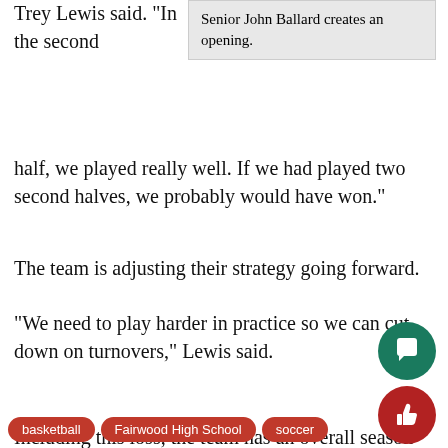Trey Lewis said. “In the second
Senior John Ballard creates an opening.
half, we played really well. If we had played two second halves, we probably would have won.”
The team is adjusting their strategy going forward.
“We need to play harder in practice so we can cut down on turnovers,” Lewis said.
Including this loss, the team has an overall season record of 12-14.
“We need to win out and win all counter games,” senior captain Paul Labanowski said. “The ultimate goal is to win SPC, obviously, and winning out would give us the best opportunity to do that.”